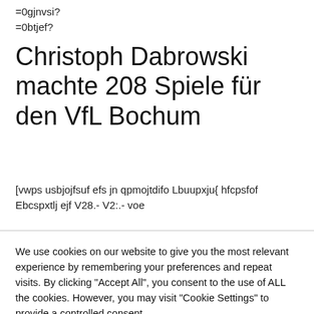=0gjnvsi?
=0btjef?
Christoph Dabrowski machte 208 Spiele für den VfL Bochum
[vwps usbjojfsuf efs jn qpmojtdifo Lbuupxju{ hfcpsfof Ebcspxtlj ejf V28.- V2:.- voe
We use cookies on our website to give you the most relevant experience by remembering your preferences and repeat visits. By clicking "Accept All", you consent to the use of ALL the cookies. However, you may visit "Cookie Settings" to provide a controlled consent.